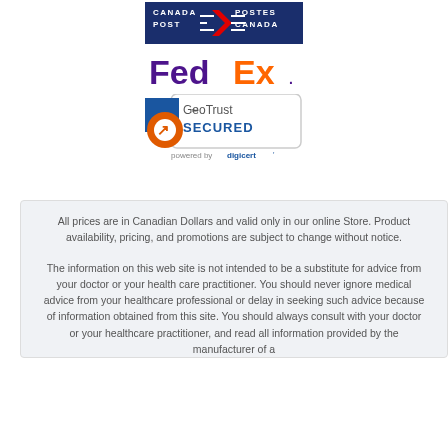[Figure (logo): Canada Post / Postes Canada logo in navy blue with red arrow]
[Figure (logo): FedEx logo in purple and orange]
[Figure (logo): GeoTrust Secured logo with orange spiral arrow, powered by digicert]
All prices are in Canadian Dollars and valid only in our online Store. Product availability, pricing, and promotions are subject to change without notice.
The information on this web site is not intended to be a substitute for advice from your doctor or your health care practitioner. You should never ignore medical advice from your healthcare professional or delay in seeking such advice because of information obtained from this site. You should always consult with your doctor or your healthcare practitioner, and read all information provided by the manufacturer of a